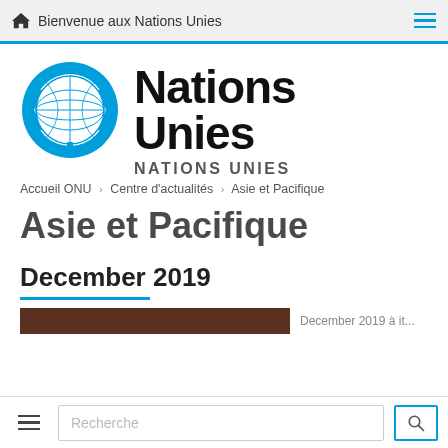Bienvenue aux Nations Unies
[Figure (logo): United Nations emblem logo in blue with world map and laurel wreath, alongside text 'Nations Unies' in large bold black text and 'NATIONS UNIES' in smaller gray uppercase text below]
Accueil ONU › Centre d'actualités › Asie et Pacifique
Asie et Pacifique
December 2019
[Figure (photo): Dark brownish image strip partially visible at bottom of content area]
December 2019 à it...